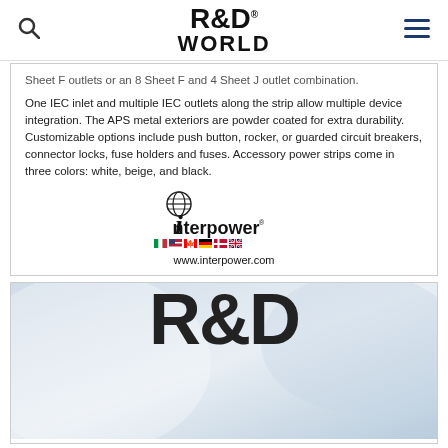R&D WORLD
...Sheet F outlets or an 8 Sheet F and 4 Sheet J outlet combination.
One IEC inlet and multiple IEC outlets along the strip allow multiple device integration. The APS metal exteriors are powder coated for extra durability. Customizable options include push button, rocker, or guarded circuit breakers, connector locks, fuse holders and fuses. Accessory power strips come in three colors: white, beige, and black.
[Figure (logo): Interpower logo with globe icon, italic i, the word interpower, country flags, and www.interpower.com]
[Figure (logo): R&D World logo large on a light blue/grey background]